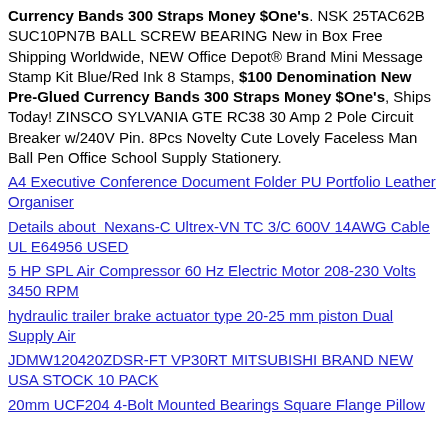Currency Bands 300 Straps Money $One's. NSK 25TAC62B SUC10PN7B BALL SCREW BEARING New in Box Free Shipping Worldwide, NEW Office Depot® Brand Mini Message Stamp Kit Blue/Red Ink 8 Stamps, $100 Denomination New Pre-Glued Currency Bands 300 Straps Money $One's, Ships Today! ZINSCO SYLVANIA GTE RC38 30 Amp 2 Pole Circuit Breaker w/240V Pin. 8Pcs Novelty Cute Lovely Faceless Man Ball Pen Office School Supply Stationery.
A4 Executive Conference Document Folder PU Portfolio Leather Organiser
Details about  Nexans-C Ultrex-VN TC 3/C 600V 14AWG Cable UL E64956 USED
5 HP SPL Air Compressor 60 Hz Electric Motor 208-230 Volts 3450 RPM
hydraulic trailer brake actuator type 20-25 mm piston Dual Supply Air
JDMW120420ZDSR-FT VP30RT MITSUBISHI BRAND NEW USA STOCK 10 PACK
20mm UCF204 4-Bolt Mounted Bearings Square Flange Pillow